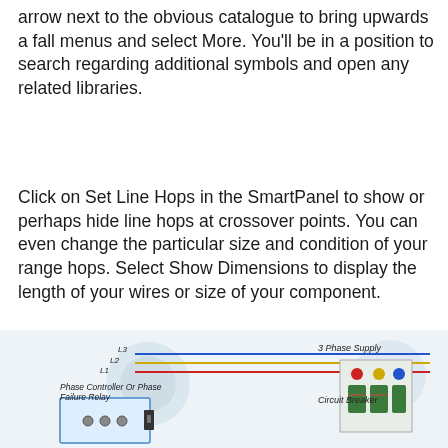arrow next to the obvious catalogue to bring upwards a fall menus and select More. You'll be in a position to search regarding additional symbols and open any related libraries.
Click on Set Line Hops in the SmartPanel to show or perhaps hide line hops at crossover points. You can even change the particular size and condition of your range hops. Select Show Dimensions to display the length of your wires or size of your component.
[Figure (schematic): Electrical wiring schematic showing three-phase supply lines (L1, L2, L3) connecting to a Circuit Breaker on the right and a Phase Controller Or Phase Failure Relay on the left. Three colored wires (red, yellow, blue) run horizontally. Labels: L1, L2, L3, 3 Phase Supply, Phase Controller Or Phase Failure Relay, Circuit Breaker.]